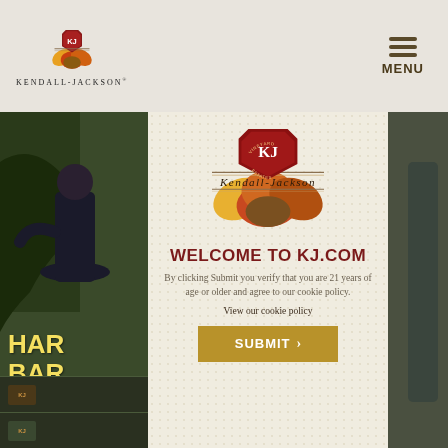[Figure (screenshot): Kendall-Jackson website header with logo and hamburger menu icon]
[Figure (photo): Background photo showing person in outdoor/vineyard setting with partial text HAR... BAR...]
[Figure (screenshot): Age verification modal popup with Kendall-Jackson logo]
WELCOME TO KJ.COM
By clicking Submit you verify that you are 21 years of age or older and agree to our cookie policy.
View our cookie policy
SUBMIT